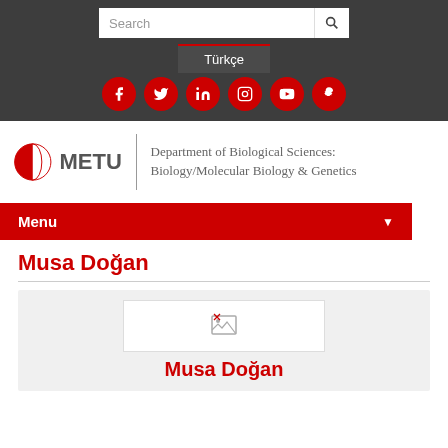[Figure (screenshot): Search bar with text 'Search' and a magnifying glass icon on dark background]
Türkçe
[Figure (infographic): Social media icons: Facebook, Twitter, LinkedIn, Instagram, YouTube, Snapchat — all red circular buttons on dark background]
[Figure (logo): METU logo — red half-circle emblem with METU text, followed by Department of Biological Sciences: Biology/Molecular Biology & Genetics]
Menu
Musa Doğan
[Figure (photo): Broken/loading image placeholder in white box]
Musa Doğan